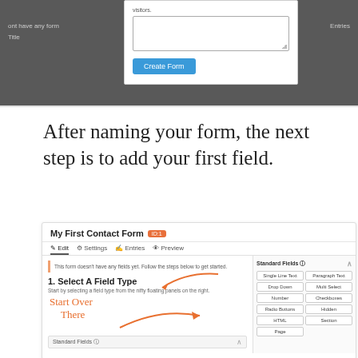[Figure (screenshot): Dark grey WordPress admin screen showing a form creation panel with a textarea containing 'visitors.' text, and a blue 'Create Form' button. Column headers 'Title' and 'Entries' visible on dark background.]
After naming your form, the next step is to add your first field.
[Figure (screenshot): Screenshot of WordPress contact form plugin interface showing 'My First Contact Form ID:1' with tabs for Edit, Settings, Entries, Preview. Main area shows notice 'This form doesn't have any fields yet. Follow the steps below to get started.' with section '1. Select A Field Type' and instruction text. Right sidebar shows Standard Fields panel with buttons: Single Line Text, Paragraph Text, Drop Down, Multi Select, Number, Checkboxes, Radio Buttons, Hidden, HTML, Section, Page. Handwritten annotation 'Start Over There' with orange arrow pointing to Standard Fields panel.]